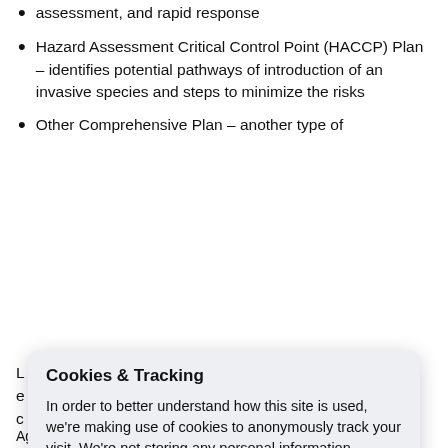assessment, and rapid response
Hazard Assessment Critical Control Point (HACCP) Plan – identifies potential pathways of introduction of an invasive species and steps to minimize the risks
Other Comprehensive Plan – another type of
[Figure (screenshot): Cookies & Tracking modal overlay dialog with title 'Cookies & Tracking', body text 'In order to better understand how this site is used, we're making use of cookies to anonymously track your visit. We're not storing any personal information.', a green 'I'm OK with this' button, and a 'Please don't track my visit' link. Below is a bottom bar with a cookie icon and 'Cookies & Tracking' text and an X close button.]
Agreement projects are generally accompanied by